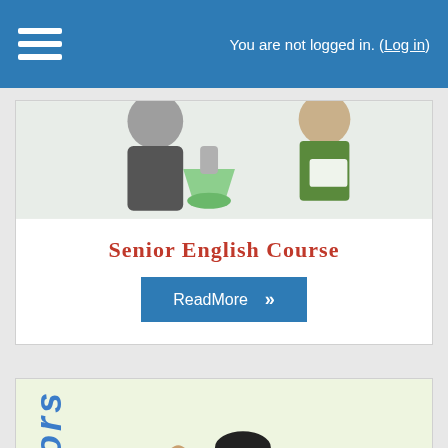You are not logged in. (Log in)
[Figure (illustration): Illustration of students doing science experiments, partially visible at top]
Senior English Course
ReadMore »
[Figure (illustration): Illustration of a boy jumping excitedly, with 'Juniors' text vertically on left side, light green background]
Junior English Course